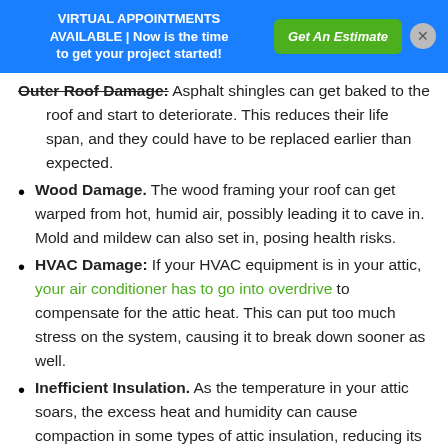VIRTUAL APPOINTMENTS AVAILABLE | Now is the time to get your project started! Get An Estimate ×
Outer Roof Damage: Asphalt shingles can get baked to the roof and start to deteriorate. This reduces their life span, and they could have to be replaced earlier than expected.
Wood Damage. The wood framing your roof can get warped from hot, humid air, possibly leading it to cave in. Mold and mildew can also set in, posing health risks.
HVAC Damage: If your HVAC equipment is in your attic, your air conditioner has to go into overdrive to compensate for the attic heat. This can put too much stress on the system, causing it to break down sooner as well.
Inefficient Insulation. As the temperature in your attic soars, the excess heat and humidity can cause compaction in some types of attic insulation, reducing its effectiveness.